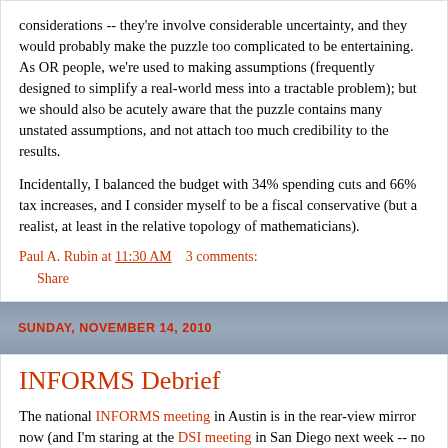considerations -- they're involve considerable uncertainty, and they would probably make the puzzle too complicated to be entertaining. As OR people, we're used to making assumptions (frequently designed to simplify a real-world mess into a tractable problem); but we should also be acutely aware that the puzzle contains many unstated assumptions, and not attach too much credibility to the results.
Incidentally, I balanced the budget with 34% spending cuts and 66% tax increases, and I consider myself to be a fiscal conservative (but a realist, at least in the relative topology of mathematicians).
Paul A. Rubin at 11:30 AM   3 comments:
Share
SUNDAY, NOVEMBER 14, 2010
INFORMS Debrief
The national INFORMS meeting in Austin is in the rear-view mirror now (and I'm staring at the DSI meeting in San Diego next week -- no rest for the wicked!), so like most of the other bloggers there I